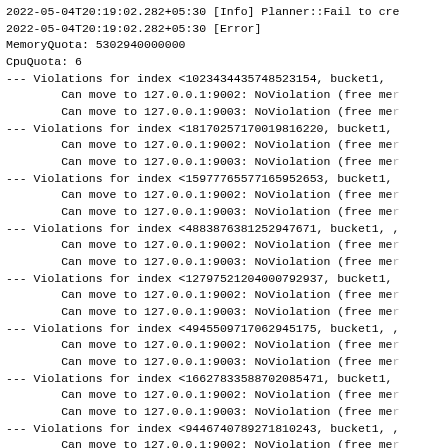2022-05-04T20:19:02.282+05:30 [Info] Planner::Fail to cre
2022-05-04T20:19:02.282+05:30 [Error]
MemoryQuota: 5302940000000
CpuQuota: 6
--- Violations for index <1023434435748523154, bucket1,
        Can move to 127.0.0.1:9002: NoViolation (free me
        Can move to 127.0.0.1:9003: NoViolation (free me
--- Violations for index <1817025717001981622, bucket1,
        Can move to 127.0.0.1:9002: NoViolation (free me
        Can move to 127.0.0.1:9003: NoViolation (free me
--- Violations for index <1597776557716595265, bucket1,
        Can move to 127.0.0.1:9002: NoViolation (free me
        Can move to 127.0.0.1:9003: NoViolation (free me
--- Violations for index <4883876381252947671, bucket1, ,
        Can move to 127.0.0.1:9002: NoViolation (free me
        Can move to 127.0.0.1:9003: NoViolation (free me
--- Violations for index <1279752120400079293, bucket1,
        Can move to 127.0.0.1:9002: NoViolation (free me
        Can move to 127.0.0.1:9003: NoViolation (free me
--- Violations for index <4945509717062945175, bucket1, ,
        Can move to 127.0.0.1:9002: NoViolation (free me
        Can move to 127.0.0.1:9003: NoViolation (free me
--- Violations for index <1662783358870208547, bucket1,
        Can move to 127.0.0.1:9002: NoViolation (free me
        Can move to 127.0.0.1:9003: NoViolation (free me
--- Violations for index <9446740789271810243, bucket1, ,
        Can move to 127.0.0.1:9002: NoViolation (free me
        Can move to 127.0.0.1:9003: NoViolation (free me
--- Violations for index <6844477503038666676, bucket1, ,
        Can move to 127.0.0.1:9002: NoViolation (free me